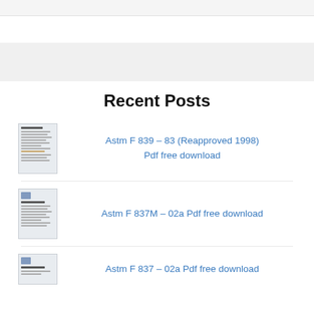Recent Posts
[Figure (thumbnail): Thumbnail of ASTM F 839-83 document page]
Astm F 839 – 83 (Reapproved 1998) Pdf free download
[Figure (thumbnail): Thumbnail of ASTM F 837M-02a document page]
Astm F 837M – 02a Pdf free download
[Figure (thumbnail): Thumbnail of ASTM F 837-02a document page]
Astm F 837 – 02a Pdf free download